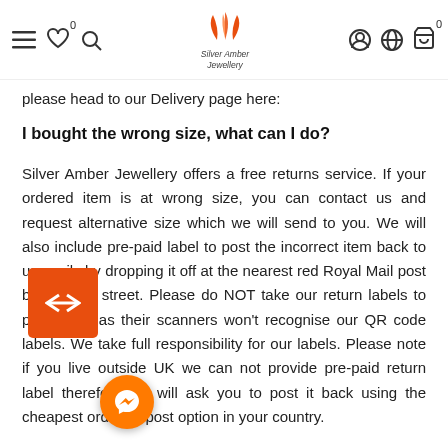Silver Amber Jewellery - navigation header with logo
please head to our Delivery page here:
I bought the wrong size, what can I do?
Silver Amber Jewellery offers a free returns service. If your ordered item is at wrong size, you can contact us and request alternative size which we will send to you. We will also include pre-paid label to post the incorrect item back to us easily by dropping it off at the nearest red Royal Mail post box on the street. Please do NOT take our return labels to post office as their scanners won't recognise our QR code labels. We take full responsibility for our labels. Please note if you live outside UK we can not provide pre-paid return label therefore we will ask you to post it back using the cheapest ordinary post option in your country.